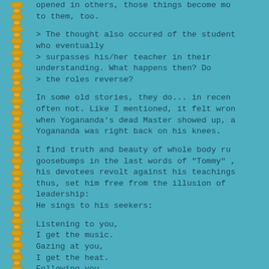opened in others, those things become more real to them, too.
> The thought also occured of the student who eventually
> surpasses his/her teacher in their understanding. What happens then? Do
> the roles reverse?
In some old stories, they do... in recent often not. Like I mentioned, it felt wrong when Yogananda's dead Master showed up, and Yogananda was right back on his knees.
I find truth and beauty of whole body rush goosebumps in the last words of "Tommy" , his devotees revolt against his teachings, thus, set him free from the illusion of leadership:
He sings to his seekers:
Listening to you,
I get the music.
Gazing at you,
I get the heat.
Following you,
I climb the mountains.
I get excitement at your feet.
Right behind you,
I see the millions,